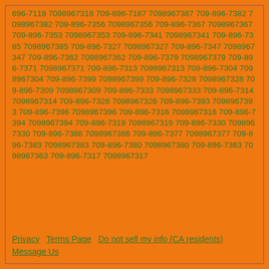696-7118 7098967318 709-896-7187 7098967387 709-896-7382 7098967382 709-896-7356 7098967356 709-896-7367 7098967367 709-896-7353 7098967353 709-896-7341 7098967341 709-896-7385 7098967385 709-896-7327 7098967327 709-896-7347 7098967347 709-896-7362 7098967362 709-896-7379 7098967379 709-896-7371 7098967371 709-896-7313 7098967313 709-896-7304 7098967304 709-896-7399 7098967399 709-896-7328 7098967328 709-896-7309 7098967309 709-896-7333 7098967333 709-896-7314 7098967314 709-896-7326 7098967326 709-896-7393 7098967393 709-896-7396 7098967396 709-896-7316 7098967316 709-896-7394 7098967394 709-896-7319 7098967319 709-896-7330 7098967330 709-896-7386 7098967386 709-896-7377 7098967377 709-896-7383 7098967383 709-896-7380 7098967380 709-896-7363 7098967363 709-896-7317 7098967317
Privacy   Terms Page   Do not sell my info (CA residents)   Message Us